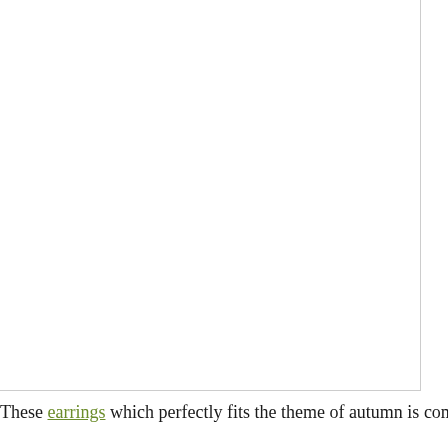[Figure (photo): Large white/blank image area occupying most of the page]
These earrings which perfectly fits the theme of autumn is completed